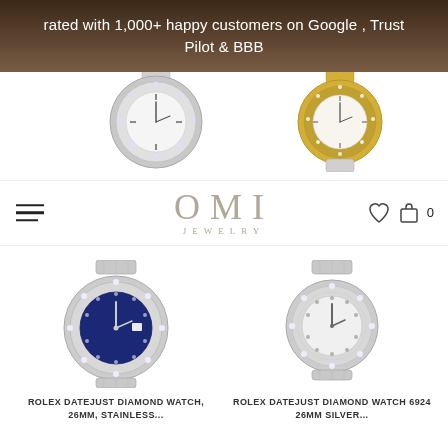rated with 1,000+ happy customers on Google , Trust Pilot & BBB
[Figure (logo): OMI Jewelry logo with text OMI and JEWELRY below]
[Figure (photo): Two Rolex watches shown at top of page - silver diamond bezel watch on left, gold and silver two-tone watch on right]
[Figure (photo): Rolex Datejust diamond watch with blue dial, 26mm, stainless steel with diamond bezel]
ROLEX DATEJUST DIAMOND WATCH, 26MM, STAINLESS...
[Figure (photo): Rolex Datejust diamond watch 6924 26mm silver with diamond bezel]
ROLEX DATEJUST DIAMOND WATCH 6924 26MM SILVER...